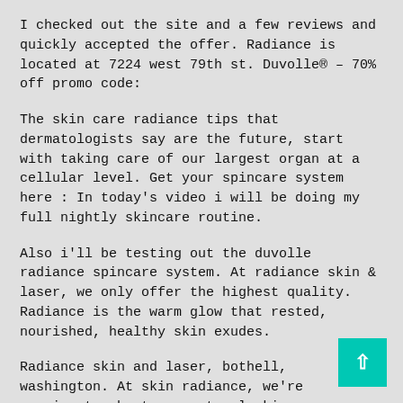I checked out the site and a few reviews and quickly accepted the offer. Radiance is located at 7224 west 79th st. Duvolle® – 70% off promo code:
The skin care radiance tips that dermatologists say are the future, start with taking care of our largest organ at a cellular level. Get your spincare system here : In today's video i will be doing my full nightly skincare routine.
Also i'll be testing out the duvolle radiance spincare system. At radiance skin & laser, we only offer the highest quality. Radiance is the warm glow that rested, nourished, healthy skin exudes.
Radiance skin and laser, bothell, washington. At skin radiance, we're passionate about our natural skincare range. Duvolle radiance skin care system!
This radiance recharge system has been especially desi to restore your skin's natural, youthful glow and promot luminosity. The toning unit applies a small pulsating current